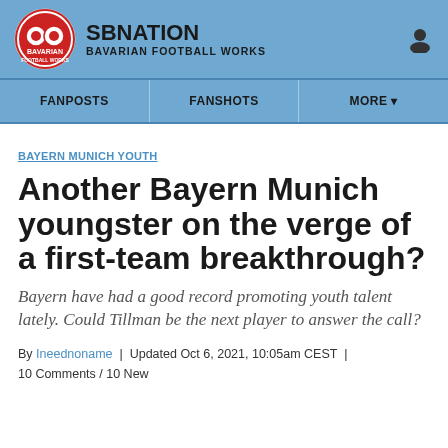SBNATION BAVARIAN FOOTBALL WORKS
FANPOSTS | FANSHOTS | MORE
BAYERN MUNICH YOUTH
Another Bayern Munich youngster on the verge of a first-team breakthrough?
Bayern have had a good record promoting youth talent lately. Could Tillman be the next player to answer the call?
By Ineednoname | Updated Oct 6, 2021, 10:05am CEST | 10 Comments / 10 New